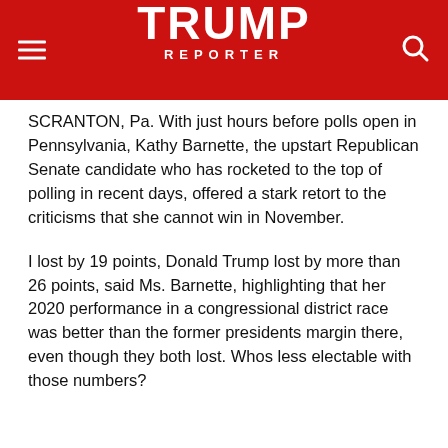TRUMP REPORTER
SCRANTON, Pa. With just hours before polls open in Pennsylvania, Kathy Barnette, the upstart Republican Senate candidate who has rocketed to the top of polling in recent days, offered a stark retort to the criticisms that she cannot win in November.
I lost by 19 points, Donald Trump lost by more than 26 points, said Ms. Barnette, highlighting that her 2020 performance in a congressional district race was better than the former presidents margin there, even though they both lost. Whos less electable with those numbers?